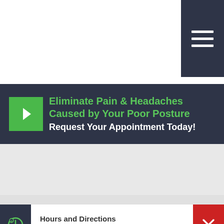[Figure (infographic): Dark hamburger/menu icon (three white horizontal lines) on dark navy background in top-right corner]
Eliminate Pain & Headaches Caused by Your Poor Posture
Request Your Appointment Today!
Hours and Directions
NATURAL MEDICAL SOLUTIONS WELLNESS CENTER